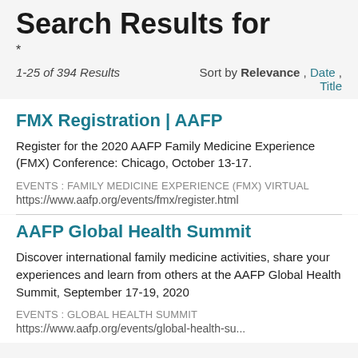Search Results for
*
1-25 of 394 Results   Sort by Relevance , Date , Title
FMX Registration | AAFP
Register for the 2020 AAFP Family Medicine Experience (FMX) Conference: Chicago, October 13-17.
EVENTS : FAMILY MEDICINE EXPERIENCE (FMX) VIRTUAL
https://www.aafp.org/events/fmx/register.html
AAFP Global Health Summit
Discover international family medicine activities, share your experiences and learn from others at the AAFP Global Health Summit, September 17-19, 2020
EVENTS : GLOBAL HEALTH SUMMIT
https://www.aafp.org/events/global-health-summit.html